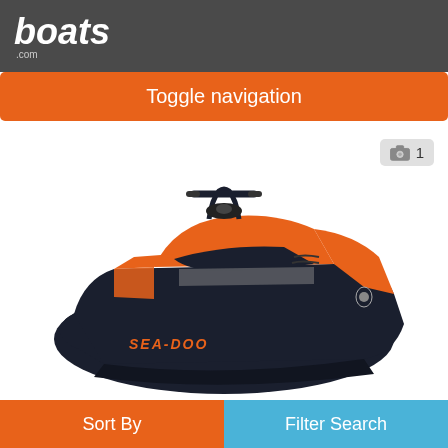boats.com
Toggle navigation
[Figure (photo): Orange and dark navy Sea-Doo GTI personal watercraft (jet ski) shown from a 3/4 front-right angle on a white background. The hull is dark navy/black, the seat and body panels are orange, with SEA-DOO lettering on the side.]
Sea-Doo GTI™ SE 130 iBR, iDF with Audio
Hot Springs National Park, Arkansas, United States
Sort By   Filter Search